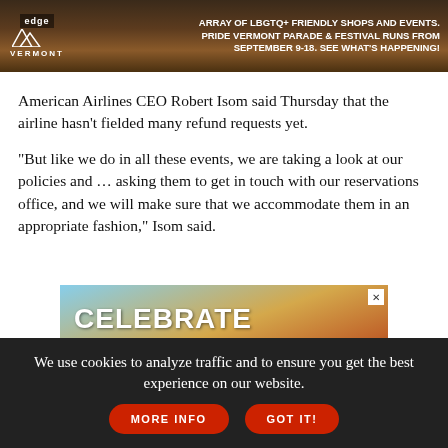[Figure (other): Advertisement banner for Edge Vermont LGBTQ+ tourism showing a sunset lake scene with text about LGBTQ+ friendly shops, events, and Pride Vermont Parade & Festival September 9-18]
American Airlines CEO Robert Isom said Thursday that the airline hasn't fielded many refund requests yet.
"But like we do in all these events, we are taking a look at our policies and ... asking them to get in touch with our reservations office, and we will make sure that we accommodate them in an appropriate fashion," Isom said.
[Figure (other): Advertisement for 'Celebrate Small Town, Big Pride on the Burlington Waterfront' showing a dramatic sunset sky with orange and blue colors]
We use cookies to analyze traffic and to ensure you get the best experience on our website.